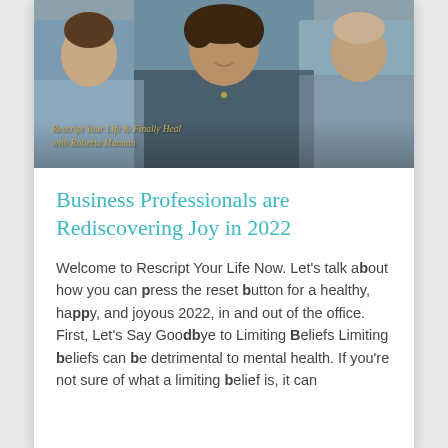[Figure (photo): Three professional women standing together; text overlay reads 'Rescript Your Life & Finally Heal with Roberta Mannah']
Business Professionals are Rediscovering Joy in 2022
Welcome to Rescript Your Life Now. Let's talk about how you can press the reset button for a healthy, happy, and joyous 2022, in and out of the office. First, Let's Say Goodbye to Limiting Beliefs Limiting beliefs can be detrimental to mental health. If you're not sure of what a limiting belief is, it can